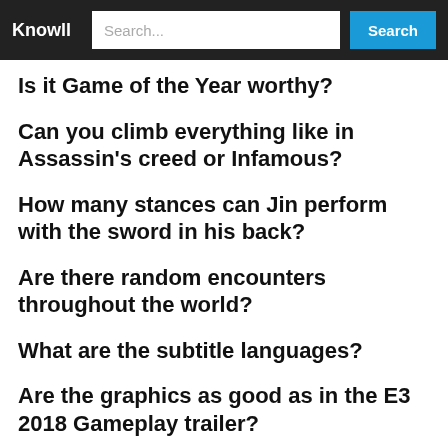Knowll | Search...  Search
Is it Game of the Year worthy?
Can you climb everything like in Assassin's creed or Infamous?
How many stances can Jin perform with the sword in his back?
Are there random encounters throughout the world?
What are the subtitle languages?
Are the graphics as good as in the E3 2018 Gameplay trailer?